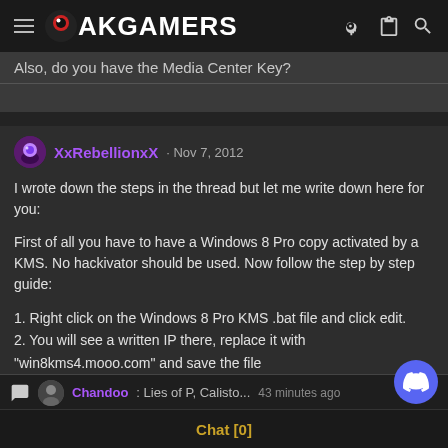PakGamers
Also, do you have the Media Center Key?
XxRebellionxX · Nov 7, 2012
I wrote down the steps in the thread but let me write down here for you:
First of all you have to have a Windows 8 Pro copy activated by a KMS. No hackivator should be used. Now follow the step by step guide:
1. Right click on the Windows 8 Pro KMS .bat file and click edit.
2. You will see a written IP there, replace it with "win8kms4.mooo.com" and save the file
3. Now run the .bat file while connected to the internet
Chandoo: Lies of P, Calisto... 43 minutes ago
Chat [0]